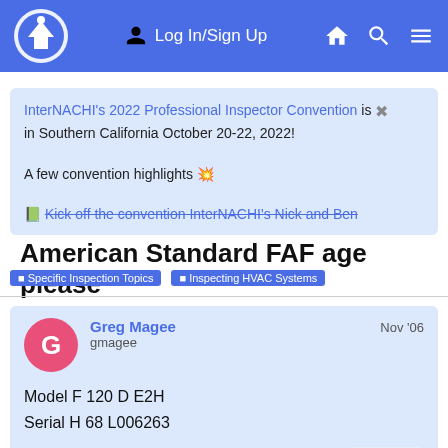Log In/Sign Up
InterNACHI's 2022 Professional Inspector Convention is ✖ in Southern California October 20-22, 2022!

A few convention highlights 💥

📗 Kick off the convention InterNACHI's Nick and Ben
American Standard FAF age please
Specific Inspection Topics  ■  Inspecting HVAC Systems
Greg Magee
gmagee
Nov '06

Model F 120 D E2H
Serial H 68 L006263

Thanks
1 / 4